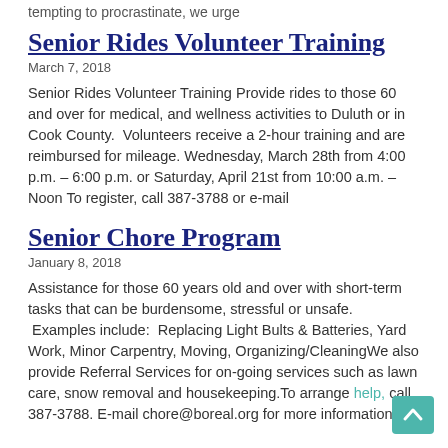tempting to procrastinate, we urge
Senior Rides Volunteer Training
March 7, 2018
Senior Rides Volunteer Training Provide rides to those 60 and over for medical, and wellness activities to Duluth or in Cook County.  Volunteers receive a 2-hour training and are reimbursed for mileage. Wednesday, March 28th from 4:00 p.m. – 6:00 p.m. or Saturday, April 21st from 10:00 a.m. – Noon To register, call 387-3788 or e-mail
Senior Chore Program
January 8, 2018
Assistance for those 60 years old and over with short-term tasks that can be burdensome, stressful or unsafe.  Examples include:  Replacing Light Bults & Batteries, Yard Work, Minor Carpentry, Moving, Organizing/CleaningWe also provide Referral Services for on-going services such as lawn care, snow removal and housekeeping.To arrange help, call 387-3788. E-mail chore@boreal.org for more information.